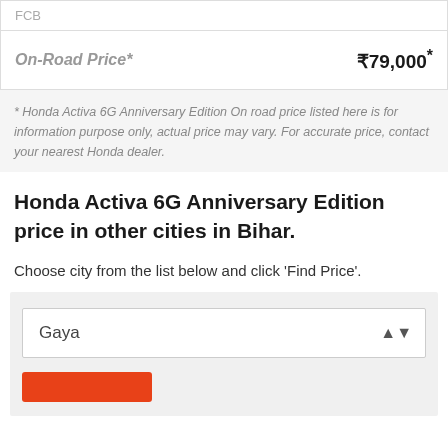| FCB |  |
| On-Road Price* | ₹79,000* |
* Honda Activa 6G Anniversary Edition On road price listed here is for information purpose only, actual price may vary. For accurate price, contact your nearest Honda dealer.
Honda Activa 6G Anniversary Edition price in other cities in Bihar.
Choose city from the list below and click 'Find Price'.
Gaya